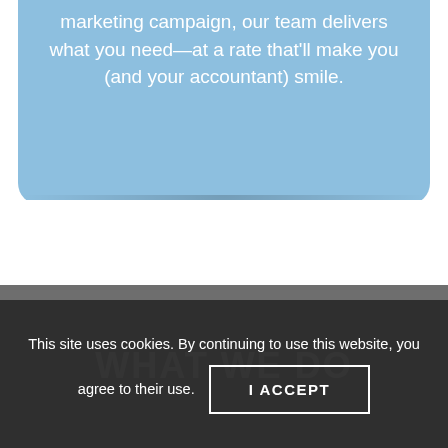marketing campaign, our team delivers what you need—at a rate that'll make you (and your accountant) smile.
WHAT WE DO
This site uses cookies. By continuing to use this website, you agree to their use.
I ACCEPT